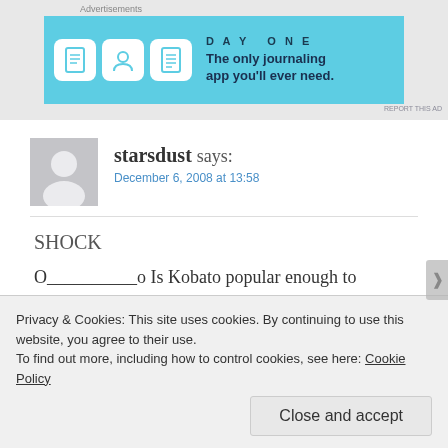Advertisements
[Figure (screenshot): Day One app advertisement banner. Blue background with DAY ONE logo, three circular icons (notebook, person, list), and text 'The only journaling app you'll ever need.']
starsdust says:
December 6, 2008 at 13:58
SHOCK
O__________o Is Kobato popular enough to make an anime based on it???????? (then why not
Privacy & Cookies: This site uses cookies. By continuing to use this website, you agree to their use.
To find out more, including how to control cookies, see here: Cookie Policy
Close and accept